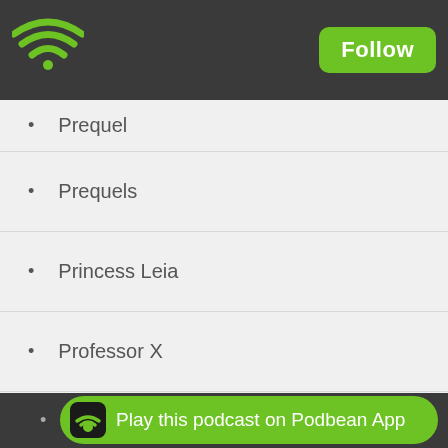Follow
Prequel
Prequels
Princess Leia
Professor X
Punk Archaeology
Pyro
R2D2
Radio
Radio Comedy
Raiders
Play this podcast on Podbean App